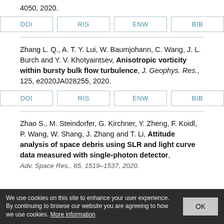4050, 2020.
DOI | RIS | ENW | BIB
Zhang L. Q., A. T. Y. Lui, W. Baumjohann, C. Wang, J. L. Burch and Y. V. Khotyaintsev, Anisotropic vorticity within bursty bulk flow turbulence, J. Geophys. Res., 125, e2020JA028255, 2020.
DOI | RIS | ENW | BIB
Zhao S., M. Steindorfer, G. Kirchner, Y. Zheng, F. Koidl, P. Wang, W. Shang, J. Zhang and T. Li, Attitude analysis of space debris using SLR and light curve data measured with single-photon detector, Adv. Space Res., 65, 1519–1537, 2020.
We use cookies on this site to enhance your user experience. By continuing to browse our website you are agreeing to how we use cookies. More information